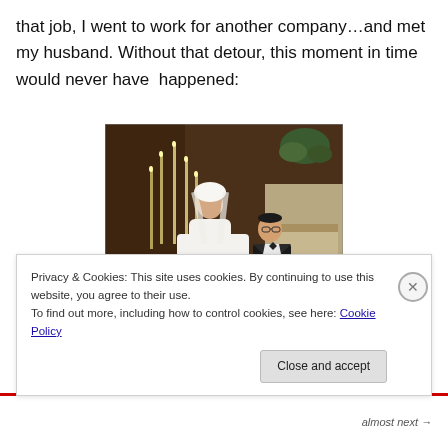that job, I went to work for another company…and met my husband. Without that detour, this moment in time would never have happened:
[Figure (photo): Wedding photo of a bride in a white gown with veil and bouquet standing next to a groom in a black tuxedo, inside a church with candelabras and wooden paneling in the background.]
Privacy & Cookies: This site uses cookies. By continuing to use this website, you agree to their use.
To find out more, including how to control cookies, see here: Cookie Policy
Close and accept
almost next →